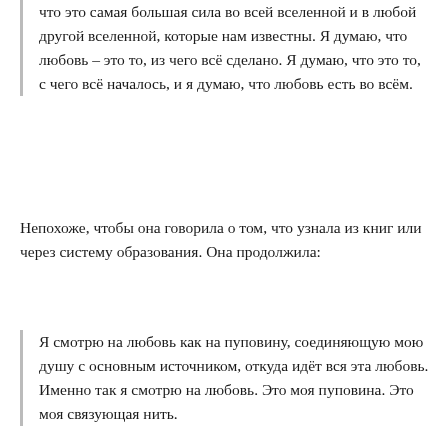что это самая большая сила во всей вселенной и в любой другой вселенной, которые нам известны. Я думаю, что любовь – это то, из чего всё сделано. Я думаю, что это то, с чего всё началось, и я думаю, что любовь есть во всём.
Непохоже, чтобы она говорила о том, что узнала из книг или через систему образования. Она продолжила:
Я смотрю на любовь как на пуповину, соединяющую мою душу с основным источником, откуда идёт вся эта любовь. Именно так я смотрю на любовь. Это моя пуповина. Это моя связующая нить.